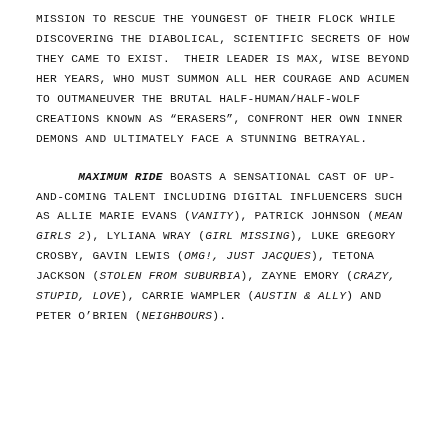MISSION TO RESCUE THE YOUNGEST OF THEIR FLOCK WHILE DISCOVERING THE DIABOLICAL, SCIENTIFIC SECRETS OF HOW THEY CAME TO EXIST.  Their leader is Max, wise beyond her years, who must summon all her courage and acumen to outmaneuver the brutal half-human/half-wolf creations known as "Erasers", confront her own inner demons and ultimately face a stunning betrayal.
MAXIMUM RIDE boasts a sensational cast of up-and-coming talent including digital influencers such as Allie Marie Evans (Vanity), Patrick Johnson (Mean Girls 2), Lyliana Wray (Girl Missing), Luke Gregory Crosby, Gavin Lewis (OMG!, Just Jacques), Tetona Jackson (Stolen from Suburbia), Zayne Emory (Crazy, Stupid, Love), Carrie Wampler (Austin & Ally) and Peter O'Brien (Neighbours).